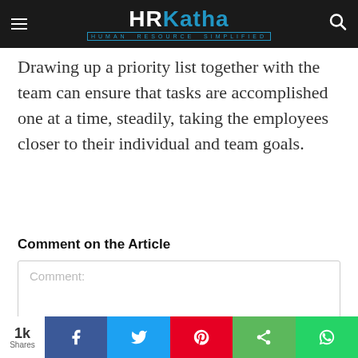HRKatha — HUMAN RESOURCE SIMPLIFIED
Drawing up a priority list together with the team can ensure that tasks are accomplished one at a time, steadily, taking the employees closer to their individual and team goals.
Comment on the Article
Comment:
1k Shares | Facebook | Twitter | Pinterest | Share | WhatsApp